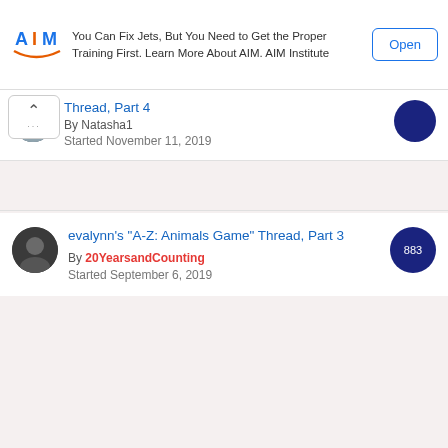[Figure (screenshot): AIM Institute advertisement banner with logo, text 'You Can Fix Jets, But You Need to Get the Proper Training First. Learn More About AIM. AIM Institute' and an Open button]
Thread, Part 4
By Natasha1
Started November 11, 2019
evalynn's "A-Z: Animals Game" Thread, Part 3
By 20YearsandCounting
Started September 6, 2019